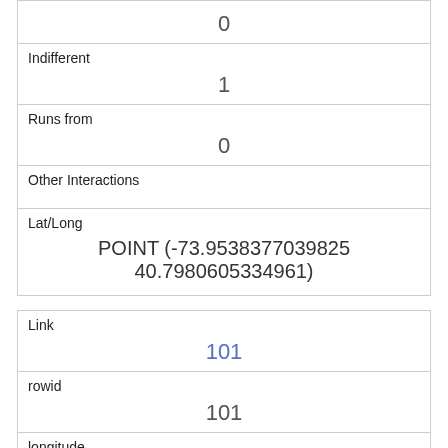|  | 0 |
| Indifferent | 1 |
| Runs from | 0 |
| Other Interactions |  |
| Lat/Long | POINT (-73.9538377039825 40.7980605334961) |
| Link | 101 |
| rowid | 101 |
| longitude | -73.9544007658685 |
| latitude | 40.7950689723135 |
| Unique Squirrel ID | 38F-PM-1013-05 |